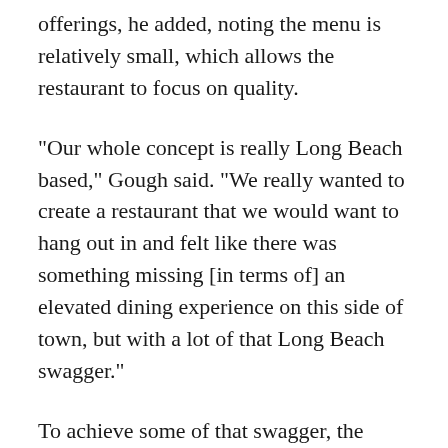offerings, he added, noting the menu is relatively small, which allows the restaurant to focus on quality.
“Our whole concept is really Long Beach based,” Gough said. “We really wanted to create a restaurant that we would want to hang out in and felt like there was something missing [in terms of] an elevated dining experience on this side of town, but with a lot of that Long Beach swagger.”
To achieve some of that swagger, the partners reached out to the California State University, Long Beach, art department and ultimately commissioned students Mathew O’Connor and Riley Waite to paint a large